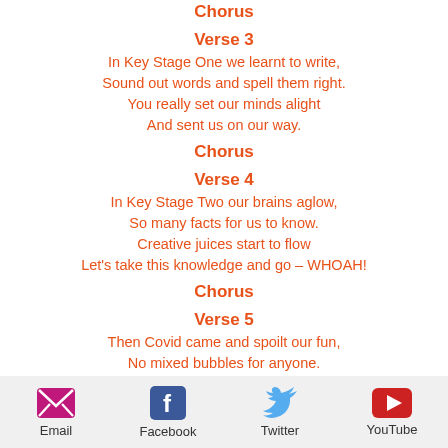Chorus
Verse 3
In Key Stage One we learnt to write,
Sound out words and spell them right.
You really set our minds alight
And sent us on our way.
Chorus
Verse 4
In Key Stage Two our brains aglow,
So many facts for us to know.
Creative juices start to flow
Let's take this knowledge and go – WHOAH!
Chorus
Verse 5
Then Covid came and spoilt our fun,
No mixed bubbles for anyone.
We did our work with PJs on:
Lockdown rules for all - BOO!
Chorus
Email  Facebook  Twitter  YouTube